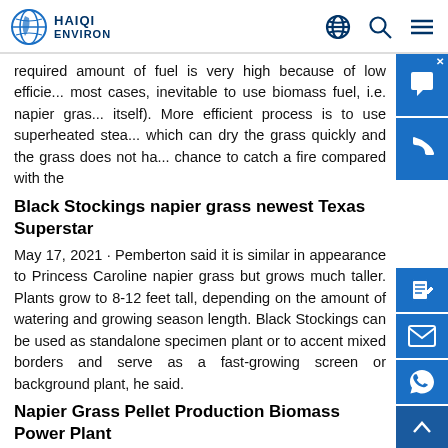HAIQI ENVIRON
required amount of fuel is very high because of low efficie... most cases, inevitable to use biomass fuel, i.e. napier gras... itself). More efficient process is to use superheated stea... which can dry the grass quickly and the grass does not ha... chance to catch a fire compared with the
Black Stockings napier grass newest Texas Superstar
May 17, 2021 · Pemberton said it is similar in appearance to Princess Caroline napier grass but grows much taller. Plants grow to 8-12 feet tall, depending on the amount of watering and growing season length. Black Stockings can be used as standalone specimen plant or to accent mixed borders and serve as a fast-growing screen or background plant, he said.
Napier Grass Pellet Production Biomass Power Plant
On Feb.23, our Japan client order the napier grass pellet production for biomass power plant, it will build in Philippines. The output of napier grass production line is 1.5-2 ton per hour, and the pellets will be used for biomass power plant. Capacity: